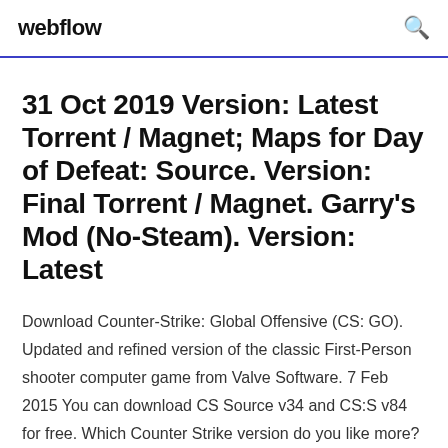webflow
31 Oct 2019 Version: Latest Torrent / Magnet; Maps for Day of Defeat: Source. Version: Final Torrent / Magnet. Garry's Mod (No-Steam). Version: Latest
Download Counter-Strike: Global Offensive (CS: GO). Updated and refined version of the classic First-Person shooter computer game from Valve Software. 7 Feb 2015 You can download CS Source v34 and CS:S v84 for free. Which Counter Strike version do you like more? CS 1.6. CS : Source. CS : GO download CS:S